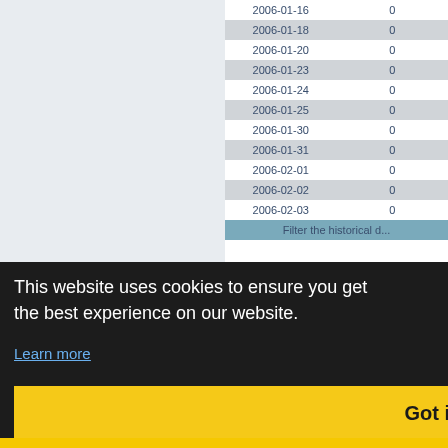| Date | Value |  |
| --- | --- | --- |
| 2006-01-16 | 0 |  |
| 2006-01-18 | 0 |  |
| 2006-01-20 | 0 |  |
| 2006-01-23 | 0 |  |
| 2006-01-24 | 0 |  |
| 2006-01-25 | 0 |  |
| 2006-01-30 | 0 |  |
| 2006-01-31 | 0 |  |
| 2006-02-01 | 0 |  |
| 2006-02-02 | 0 |  |
| 2006-02-03 | 0 |  |
| Filter the historical d... |  |  |
This website uses cookies to ensure you get the best experience on our website.
Learn more
Got it!